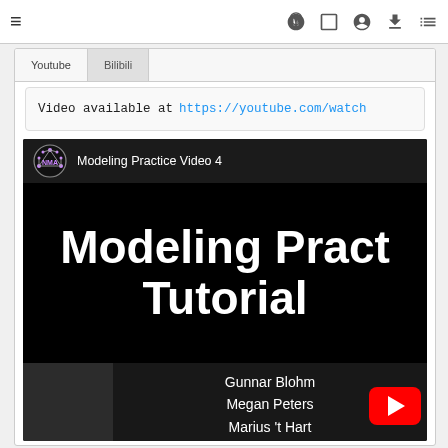≡  🚀  [ ]  ⊙  ⬇  ☰
Youtube  |  Bilibili
Video available at https://youtube.com/watch
[Figure (screenshot): YouTube video thumbnail for 'Modeling Practice Video 4' showing title 'Modeling Pract Tutorial' in large white text on black background, with NMA logo, and authors Gunnar Blohm, Megan Peters, Marius 't Hart listed. A red YouTube play button is visible.]